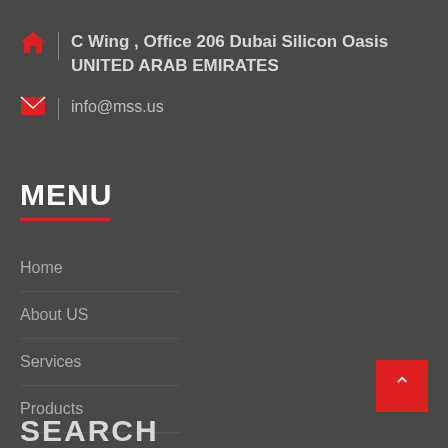C Wing , Office 206 Dubai Silicon Oasis UNITED ARAB EMIRATES
info@mss.us
MENU
Home
About US
Services
Products
Contact US
SEARCH